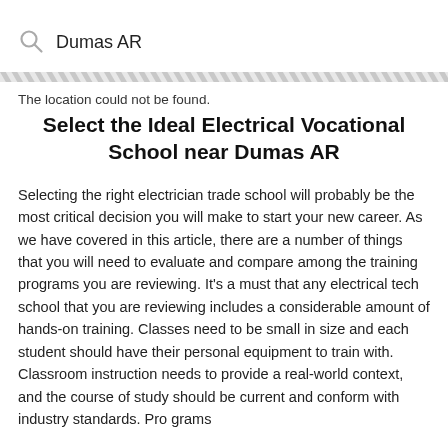Dumas AR
The location could not be found.
Select the Ideal Electrical Vocational School near Dumas AR
Selecting the right electrician trade school will probably be the most critical decision you will make to start your new career. As we have covered in this article, there are a number of things that you will need to evaluate and compare among the training programs you are reviewing. It’s a must that any electrical tech school that you are reviewing includes a considerable amount of hands-on training. Classes need to be small in size and each student should have their personal equipment to train with. Classroom instruction needs to provide a real-world context, and the course of study should be current and conform with industry standards. Pro grams